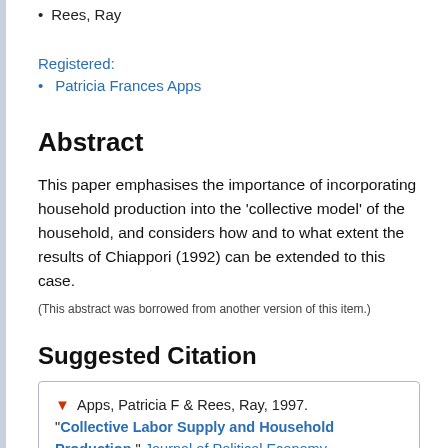Rees, Ray
Registered:
Patricia Frances Apps
Abstract
This paper emphasises the importance of incorporating household production into the 'collective model' of the household, and considers how and to what extent the results of Chiappori (1992) can be extended to this case.
(This abstract was borrowed from another version of this item.)
Suggested Citation
Apps, Patricia F & Rees, Ray, 1997. "Collective Labor Supply and Household Production," Journal of Political Economy,